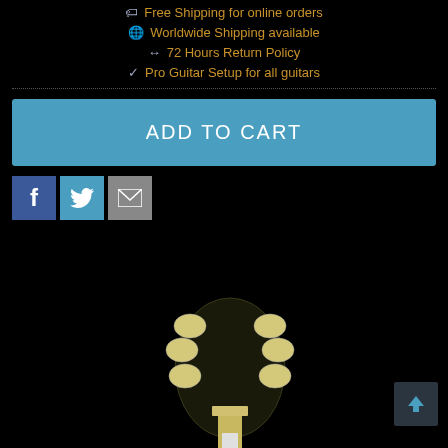🏷 Free Shipping for online orders
🌐 Worldwide Shipping available
↔ 72 Hours Return Policy
✓ Pro Guitar Setup for all guitars
ADD TO CART
[Figure (screenshot): Social share icons: Facebook (blue), Twitter (light blue), Email (grey)]
[Figure (photo): Guitar headstock photographed against black background, showing tuning pegs with cream buttons]